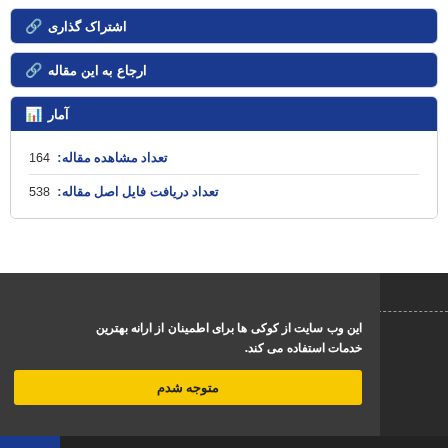اشتراک گذاری
ارجاع به این مقاله
آمار
تعداد مشاهده مقاله: 164
تعداد دریافت فایل اصل مقاله: 538
این وب سایت از کوکی ها برای اطمینان از ارانه بهترین خدمات استفاده می کند.
متوجه شدم